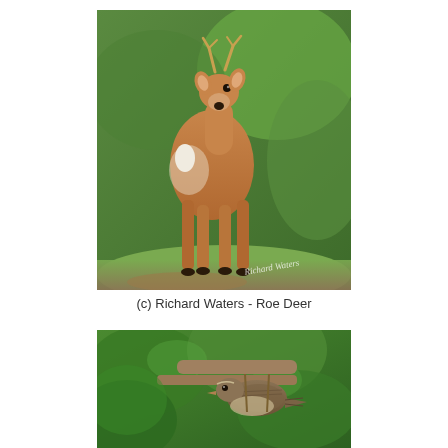[Figure (photo): A roe deer buck with small antlers standing on grass, facing the camera, with green foliage in the background. Watermark reads 'Richard Waters' in bottom-right corner.]
(c) Richard Waters - Roe Deer
[Figure (photo): A small brown bird (wren or warbler) perched on a branch surrounded by large green leaves.]